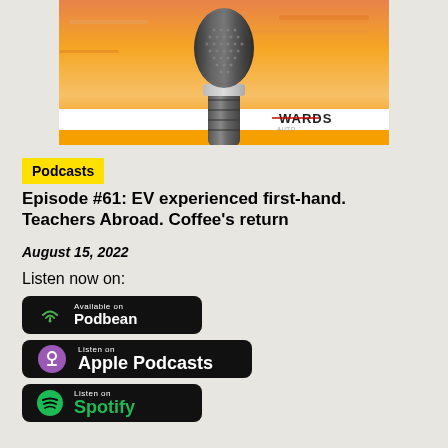[Figure (illustration): Podcast cover image showing a microphone against a sunset background with the Wards Auto logo]
Podcasts
Episode #61: EV experienced first-hand. Teachers Abroad. Coffee's return
August 15, 2022
Listen now on:
[Figure (logo): Available on Podbean badge]
[Figure (logo): Listen on Apple Podcasts badge]
[Figure (logo): Listen on Spotify badge]